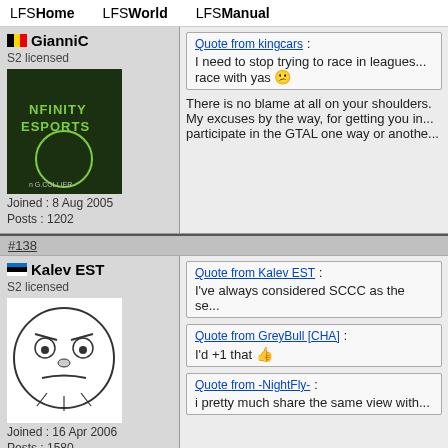LFSHome   LFSWorld   LFSManual
GianniC
S2 licensed
Joined : 8 Aug 2005
Posts : 1202
[Figure (photo): Nfinity Esports avatar with green logo and G.COLLIER text]
Quote from kingcars : I need to stop trying to race in leagues... race with yas
There is no blame at all on your shoulders. My excuses by the way, for getting you in... participate in the GTAL one way or anothe...
#138
Kalev EST
S2 licensed
Joined : 16 Apr 2006
Posts : 1580
[Figure (illustration): Me Gusta rage face avatar]
Quote from Kalev EST : I've always considered SCCC as the se...
Quote from GreyBull [CHA] : I'd +1 that
Quote from -NightFly- : i pretty much share the same view with...